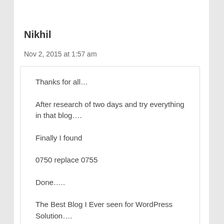Nikhil
Nov 2, 2015 at 1:57 am
Thanks for all…

After research of two days and try everything in that blog….

Finally I found

0750 replace 0755

Done…..

The Best Blog I Ever seen for WordPress Solution….